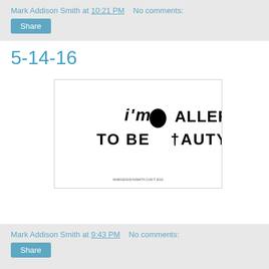Mark Addison Smith at 10:21 PM   No comments:
Share
5-14-16
[Figure (illustration): Hand-lettered text on white background reading: I'M ot ALLERGIC TO BEAUTY. with rough black marker lettering and small fine print at bottom]
Mark Addison Smith at 9:43 PM   No comments:
Share